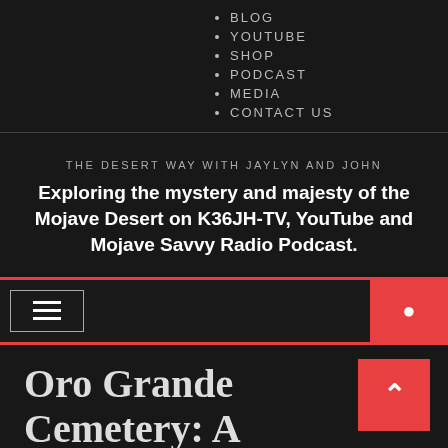BLOG
YOUTUBE
SHOP
PODCAST
MEDIA
CONTACT US
THE DESERT WAY WITH JAYLYN AND JOHN
Exploring the mystery and majesty of the Mojave Desert on K36JH-TV, YouTube and Mojave Savvy Radio Podcast.
Oro Grande Cemetery: A Haunting We Will Go
HOME » JAYLYN » Page 10